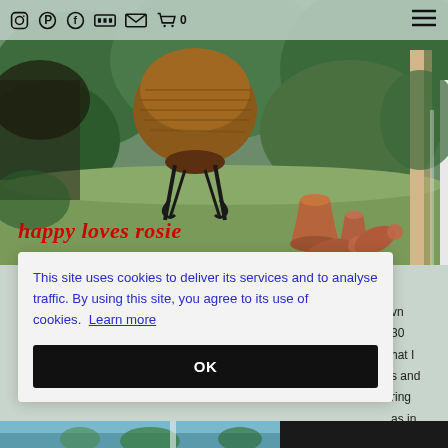Navigation bar with social icons: Instagram, Pinterest, Facebook, Flickr, Email, Cart (0), and hamburger menu
[Figure (photo): Garden scene with coir hanging basket on wrought iron stand and terracotta pots scattered on grass, with green foliage]
happy loves rosie
This site uses cookies to deliver its services and to analyse traffic. By using this site, you agree to its use of cookies. Learn more
OK
vn
30
hat I
s and
ring
as in
[Figure (photo): Partial garden or outdoor scene visible at the very bottom of the page]